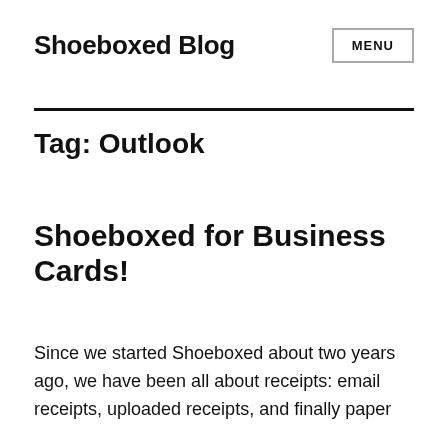Shoeboxed Blog
Tag: Outlook
Shoeboxed for Business Cards!
Since we started Shoeboxed about two years ago, we have been all about receipts: email receipts, uploaded receipts, and finally paper